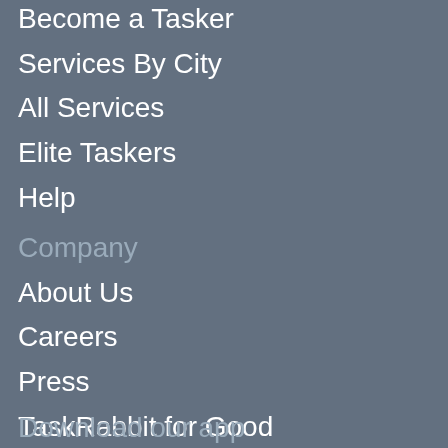Become a Tasker (partial, cut off at top)
Services By City
All Services
Elite Taskers
Help
Company
About Us
Careers
Press
TaskRabbit for Good
Blog
Terms & Privacy
California Consumer Notice
Do Not Sell My Personal Information
Download our app (partial, cut off at bottom)